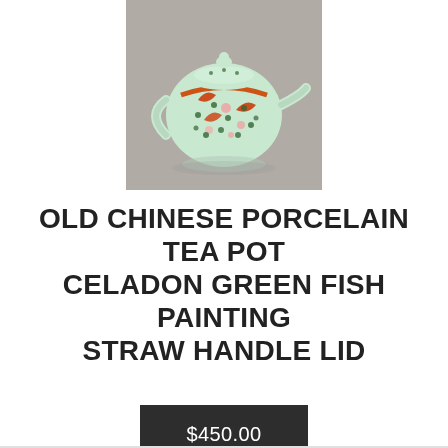[Figure (photo): A small Chinese porcelain teapot with a celadon green background decorated with red fish, pink flowers, and green dot patterns, with a rounded lid topped by a small knob, a curved handle, and a short spout. Set against a gray background.]
OLD CHINESE PORCELAIN TEA POT CELADON GREEN FISH PAINTING STRAW HANDLE LID
$450.00